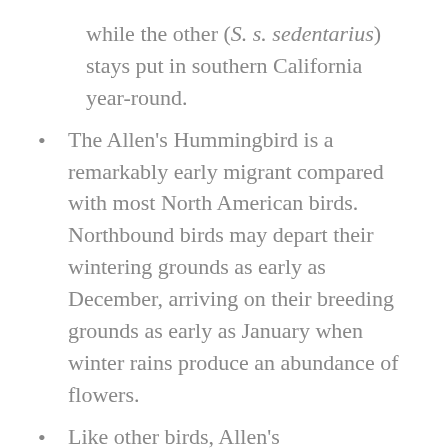while the other (S. s. sedentarius) stays put in southern California year-round.
The Allen's Hummingbird is a remarkably early migrant compared with most North American birds. Northbound birds may depart their wintering grounds as early as December, arriving on their breeding grounds as early as January when winter rains produce an abundance of flowers.
Like other birds, Allen's Hummingbirds use their feet to help control their body temperature. When